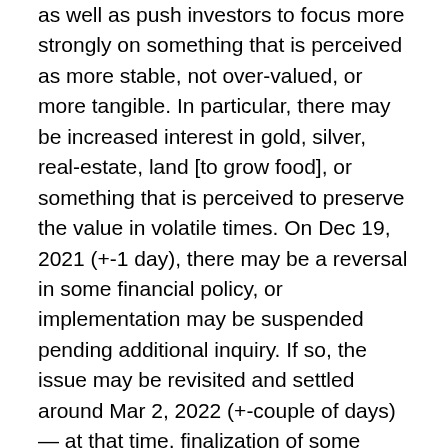as well as push investors to focus more strongly on something that is perceived as more stable, not over-valued, or more tangible. In particular, there may be increased interest in gold, silver, real-estate, land [to grow food], or something that is perceived to preserve the value in volatile times. On Dec 19, 2021 (+-1 day), there may be a reversal in some financial policy, or implementation may be suspended pending additional inquiry. If so, the issue may be revisited and settled around Mar 2, 2022 (+-couple of days) — at that time, finalization of some financial policy, enforcement of crypto regulations, implementation of some aggressive policies related to rates/loans/debt, or change in leadership [at a large financial institution or governmental entity] may have a significant effect on the markets (possibly resulting in a large drop).